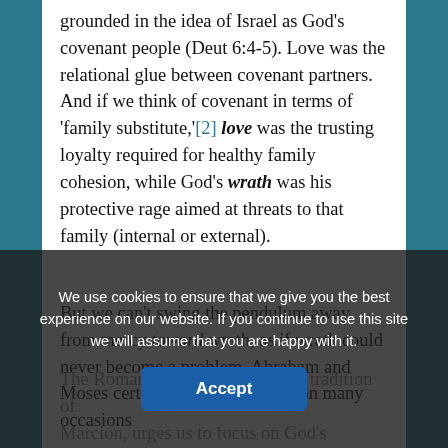grounded in the idea of Israel as God's covenant people (Deut 6:4-5). Love was the relational glue between covenant partners. And if we think of covenant in terms of 'family substitute,'[2] love was the trusting loyalty required for healthy family cohesion, while God's wrath was his protective rage aimed at threats to that family (internal or external).
But we can't swing the pendulum away from mercy toward wrath, as if wrath could never become a problem. Abraham and Moses certainly recognized this on many occasions...
The Roman Catholic Church, the tradition of Marcion, urges us to focus on God's severity and also his gentleness... observe the...